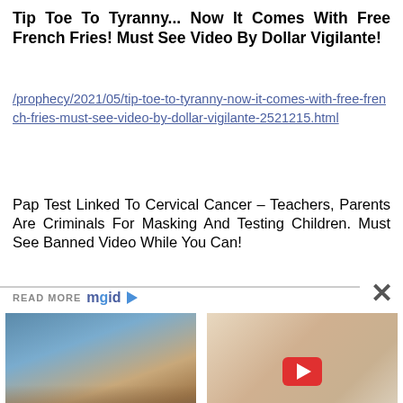Tip Toe To Tyranny... Now It Comes With Free French Fries! Must See Video By Dollar Vigilante!
/prophecy/2021/05/tip-toe-to-tyranny-now-it-comes-with-free-french-fries-must-see-video-by-dollar-vigilante-2521215.html
Pap Test Linked To Cervical Cancer – Teachers, Parents Are Criminals For Masking And Testing Children. Must See Banned Video While You Can!
READ MORE mgid
[Figure (photo): Group of people on a beach holding a large oarfish]
Ever Wonder What The Biggest Fish Ever Caught Looked Like?
[Figure (photo): Billie Eilish in white outfit with YouTube play button overlay]
Billie Eilish Stunned Beachgoers In Inappropriate Swimsuit